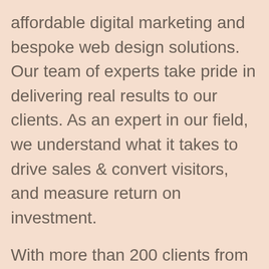affordable digital marketing and bespoke web design solutions. Our team of experts take pride in delivering real results to our clients. As an expert in our field, we understand what it takes to drive sales & convert visitors, and measure return on investment.
With more than 200 clients from various industries, we are one of the best online marketing companies in India, with the digital expertise you're looking for. To see how we can partner together to be the best digital solution provider company for your business, contact us today!